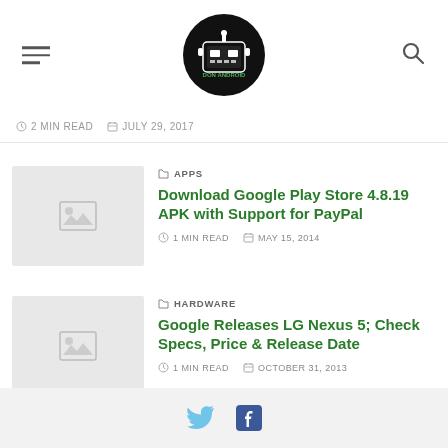DON ANDROID logo, hamburger menu, search icon
2 MIN READ   JULY 29, 2017
[Figure (screenshot): Thumbnail placeholder image for Download Google Play Store article]
APPS
Download Google Play Store 4.8.19 APK with Support for PayPal
1 MIN READ   MAY 15, 2014
[Figure (screenshot): Thumbnail placeholder image for Google Releases LG Nexus 5 article]
HARDWARE
Google Releases LG Nexus 5; Check Specs, Price & Release Date
1 MIN READ   OCTOBER 31, 2013
Social media icons (Twitter, Facebook)